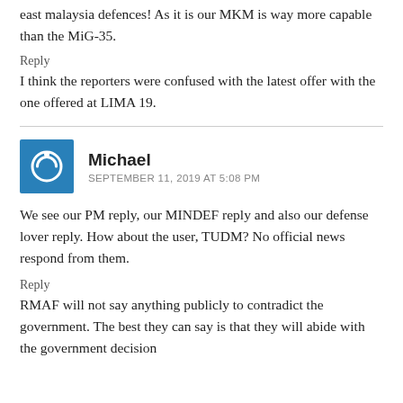east malaysia defences! As it is our MKM is way more capable than the MiG-35.
Reply
I think the reporters were confused with the latest offer with the one offered at LIMA 19.
Michael
SEPTEMBER 11, 2019 AT 5:08 PM
We see our PM reply, our MINDEF reply and also our defense lover reply. How about the user, TUDM? No official news respond from them.
Reply
RMAF will not say anything publicly to contradict the government. The best they can say is that they will abide with the government decision